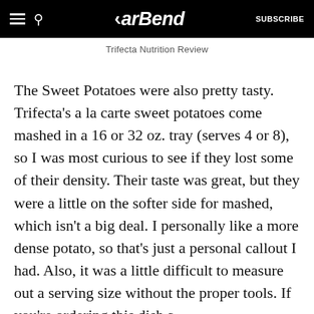BarBend — SUBSCRIBE
Trifecta Nutrition Review
The Sweet Potatoes were also pretty tasty. Trifecta's a la carte sweet potatoes come mashed in a 16 or 32 oz. tray (serves 4 or 8), so I was most curious to see if they lost some of their density. Their taste was great, but they were a little on the softer side for mashed, which isn't a big deal. I personally like a more dense potato, so that's just a personal callout I had. Also, it was a little difficult to measure out a serving size without the proper tools. If you're ordering this dish a